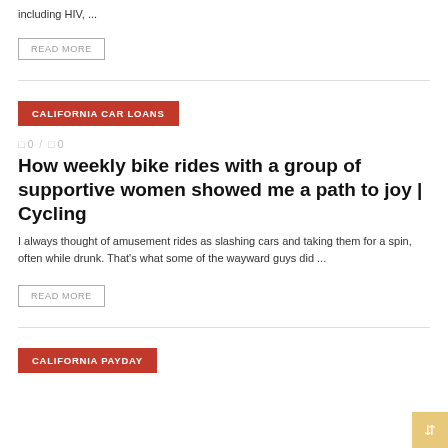including HIV, ...
READ MORE
CALIFORNIA CAR LOANS
0   /   0
How weekly bike rides with a group of supportive women showed me a path to joy | Cycling
I always thought of amusement rides as slashing cars and taking them for a spin, often while drunk. That’s what some of the wayward guys did ...
READ MORE
CALIFORNIA PAYDAY